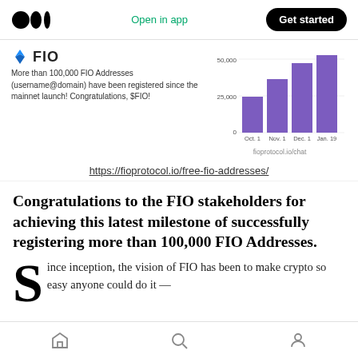Open in app | Get started
[Figure (screenshot): FIO protocol card with logo, text about 100,000 FIO Addresses registered since mainnet launch, and a bar chart showing growth from Oct 1 to Jan 19]
[Figure (bar-chart): FIO Addresses registered]
https://fioprotocol.io/free-fio-addresses/
Congratulations to the FIO stakeholders for achieving this latest milestone of successfully registering more than 100,000 FIO Addresses.
Since inception, the vision of FIO has been to make crypto so easy anyone could do it —
Home | Search | Profile